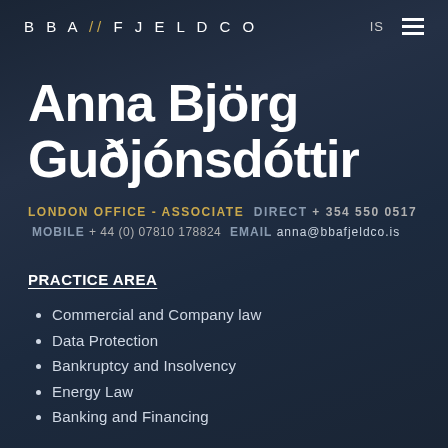BBA//FJELDCO  IS  ≡
Anna Björg Guðjónsdóttir
LONDON OFFICE - ASSOCIATE  DIRECT + 354 550 0517
MOBILE + 44 (0) 07810 178824  EMAIL anna@bbafjeldco.is
PRACTICE AREA
Commercial and Company law
Data Protection
Bankruptcy and Insolvency
Energy Law
Banking and Financing